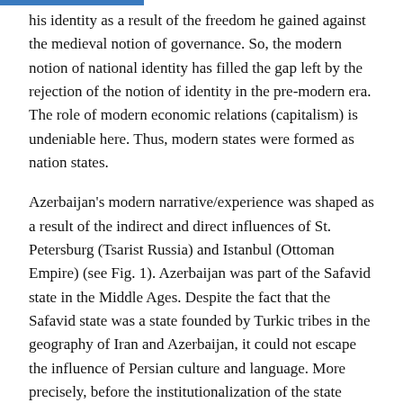his identity as a result of the freedom he gained against the medieval notion of governance. So, the modern notion of national identity has filled the gap left by the rejection of the notion of identity in the pre-modern era. The role of modern economic relations (capitalism) is undeniable here. Thus, modern states were formed as nation states.
Azerbaijan's modern narrative/experience was shaped as a result of the indirect and direct influences of St. Petersburg (Tsarist Russia) and Istanbul (Ottoman Empire) (see Fig. 1). Azerbaijan was part of the Safavid state in the Middle Ages. Despite the fact that the Safavid state was a state founded by Turkic tribes in the geography of Iran and Azerbaijan, it could not escape the influence of Persian culture and language. More precisely, before the institutionalization of the state could be